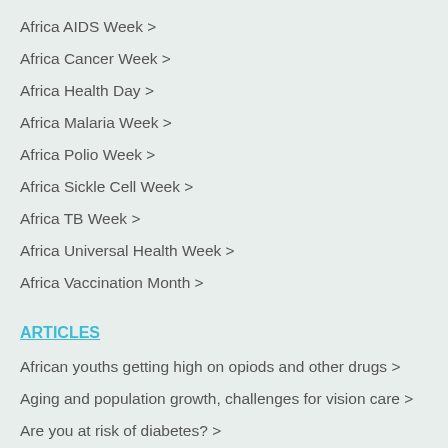Africa AIDS Week >
Africa Cancer Week >
Africa Health Day >
Africa Malaria Week >
Africa Polio Week >
Africa Sickle Cell Week >
Africa TB Week >
Africa Universal Health Week >
Africa Vaccination Month >
ARTICLES
African youths getting high on opiods and other drugs >
Aging and population growth, challenges for vision care >
Are you at risk of diabetes? >
Burden of…